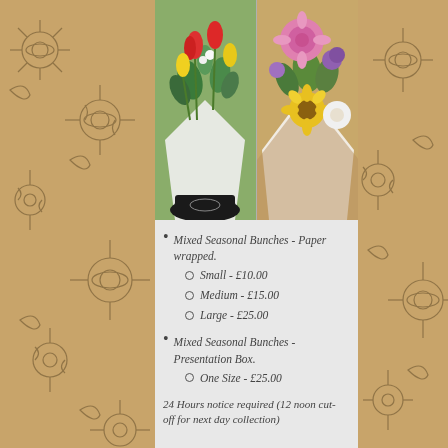[Figure (photo): Two photos side by side: left shows a mixed seasonal flower bunch with red and yellow tulips wrapped in white paper with a black branded base; right shows a mixed seasonal flower bunch with pink dahlias, yellow sunflowers, and purple flowers wrapped in kraft paper.]
Mixed Seasonal Bunches - Paper wrapped.
Small - £10.00
Medium - £15.00
Large - £25.00
Mixed Seasonal Bunches - Presentation Box.
One Size - £25.00
24 Hours notice required (12 noon cut-off for next day collection)